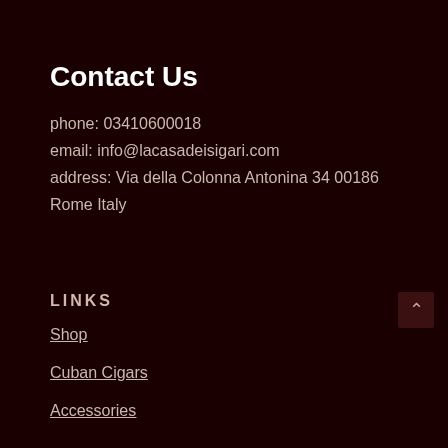Contact Us
phone: 03410600018
email: info@lacasadeisigari.com
address: Via della Colonna Antonina 34 00186 Rome Italy
LINKS
Shop
Cuban Cigars
Accessories